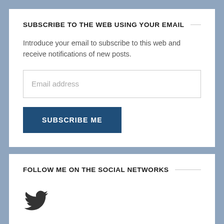SUBSCRIBE TO THE WEB USING YOUR EMAIL
Introduce your email to subscribe to this web and receive notifications of new posts.
[Figure (screenshot): Email address input field placeholder]
[Figure (screenshot): Subscribe Me button in dark blue]
FOLLOW ME ON THE SOCIAL NETWORKS
[Figure (logo): Twitter bird logo icon in dark gray]